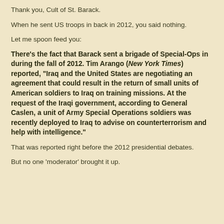Thank you, Cult of St. Barack.
When he sent US troops in back in 2012, you said nothing.
Let me spoon feed you:
There's the fact that Barack sent a brigade of Special-Ops in during the fall of 2012. Tim Arango (New York Times) reported, "Iraq and the United States are negotiating an agreement that could result in the return of small units of American soldiers to Iraq on training missions. At the request of the Iraqi government, according to General Caslen, a unit of Army Special Operations soldiers was recently deployed to Iraq to advise on counterterrorism and help with intelligence."
That was reported right before the 2012 presidential debates.
But no one 'moderator' brought it up.